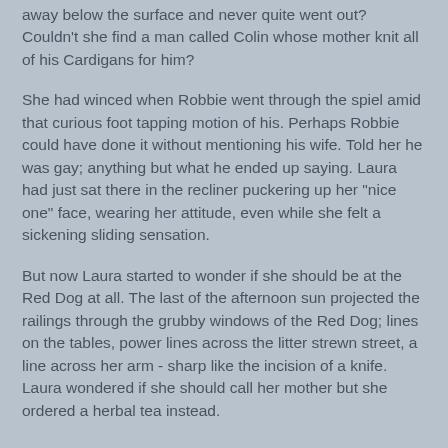away below the surface and never quite went out? Couldn't she find a man called Colin whose mother knit all of his Cardigans for him?
She had winced when Robbie went through the spiel amid that curious foot tapping motion of his. Perhaps Robbie could have done it without mentioning his wife. Told her he was gay; anything but what he ended up saying. Laura had just sat there in the recliner puckering up her "nice one" face, wearing her attitude, even while she felt a sickening sliding sensation.
But now Laura started to wonder if she should be at the Red Dog at all. The last of the afternoon sun projected the railings through the grubby windows of the Red Dog; lines on the tables, power lines across the litter strewn street, a line across her arm - sharp like the incision of a knife. Laura wondered if she should call her mother but she ordered a herbal tea instead.